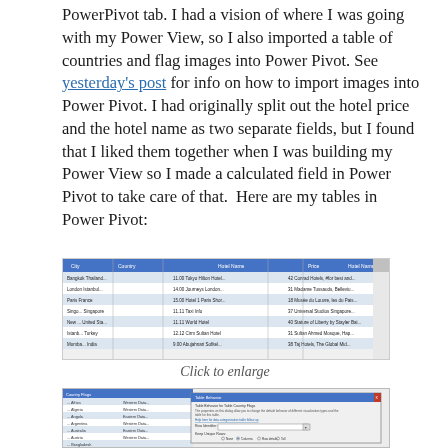PowerPivot tab. I had a vision of where I was going with my Power View, so I also imported a table of countries and flag images into Power Pivot. See yesterday's post for info on how to import images into Power Pivot. I had originally split out the hotel price and the hotel name as two separate fields, but I found that I liked them together when I was building my Power View so I made a calculated field in Power Pivot to take care of that.  Here are my tables in Power Pivot:
[Figure (screenshot): Screenshot of Power Pivot table with hotel data including city, country, price, hotel name columns]
Click to enlarge
[Figure (screenshot): Screenshot of Power Pivot Table Behavior dialog box for Country Flags table]